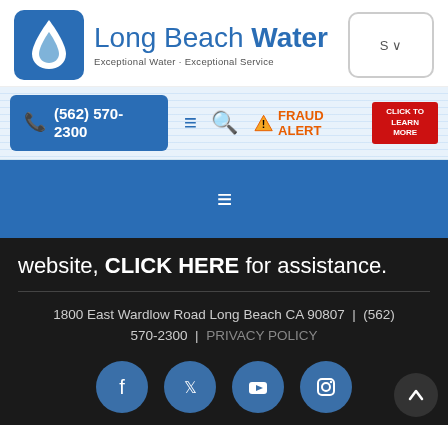[Figure (logo): Long Beach Water logo with water drop icon and text 'Long Beach Water – Exceptional Water - Exceptional Service']
(562) 570-2300 | FRAUD ALERT – CLICK TO LEARN MORE
[Figure (screenshot): Blue navigation banner with white hamburger menu icon]
website, CLICK HERE for assistance.
1800 East Wardlow Road Long Beach CA 90807  |  (562) 570-2300  |  PRIVACY POLICY
[Figure (infographic): Social media icons row: Facebook, Twitter, YouTube, Instagram]
Back to top button